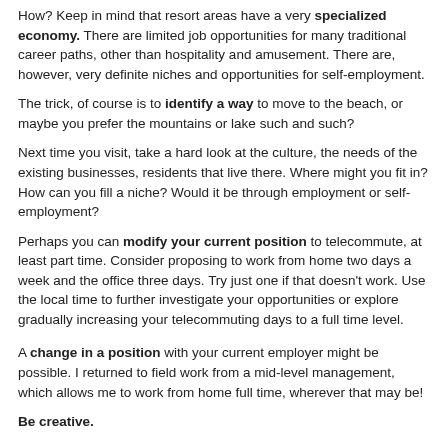How? Keep in mind that resort areas have a very specialized economy. There are limited job opportunities for many traditional career paths, other than hospitality and amusement. There are, however, very definite niches and opportunities for self-employment.
The trick, of course is to identify a way to move to the beach, or maybe you prefer the mountains or lake such and such?
Next time you visit, take a hard look at the culture, the needs of the existing businesses, residents that live there. Where might you fit in? How can you fill a niche? Would it be through employment or self-employment?
Perhaps you can modify your current position to telecommute, at least part time. Consider proposing to work from home two days a week and the office three days. Try just one if that doesn’t work. Use the local time to further investigate your opportunities or explore gradually increasing your telecommuting days to a full time level.
A change in a position with your current employer might be possible. I returned to field work from a mid-level management, which allows me to work from home full time, wherever that may be!
Be creative.